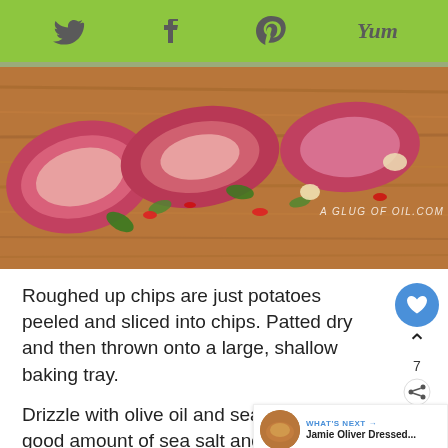Twitter | Facebook | Pinterest | Yum
[Figure (photo): Close-up food photo of sliced cooked meat (steak) with chopped herbs, red chili, and garlic on a wooden board. Watermark reads: A GLUG OF OIL.COM]
Roughed up chips are just potatoes peeled and sliced into chips. Patted dry and then thrown onto a large, shallow baking tray.
Drizzle with olive oil and season with a good amount of sea salt and a little black pepper.